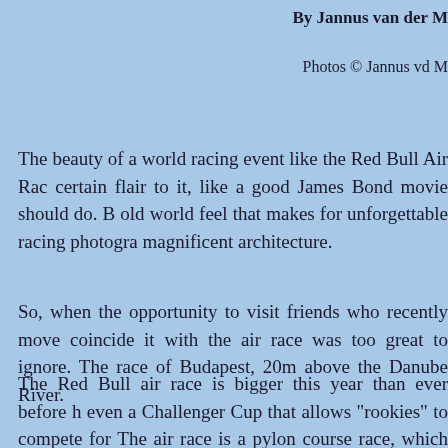By Jannus van der M
Photos © Jannus vd M
The beauty of a world racing event like the Red Bull Air Rac certain flair to it, like a good James Bond movie should do. B old world feel that makes for unforgettable racing photogra magnificent architecture.
So, when the opportunity to visit friends who recently move coincide it with the air race was too great to ignore. The race of Budapest, 20m above the Danube River.
The Red Bull air race is bigger this year than ever before h even a Challenger Cup that allows "rookies" to compete for The air race is a pylon course race, which takes place 20m ab some also over land. Mostly the course is completed in arou done, which make for interesting vertical or sharp high G tu a minute, being about 5km in length. The rules are simpl